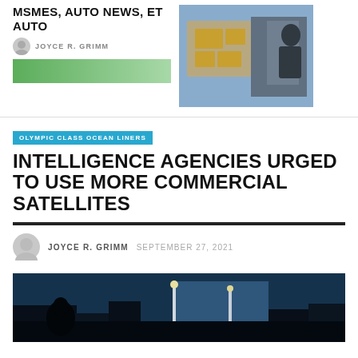MSMES, AUTO NEWS, ET AUTO
JOYCE R. GRIMM
[Figure (photo): Partial green image strip at top left]
[Figure (photo): Photo of Amazon delivery truck with boxes and driver]
OLYMPIC CLASS OCEAN LINERS
INTELLIGENCE AGENCIES URGED TO USE MORE COMMERCIAL SATELLITES
JOYCE R. GRIMM   SEPTEMBER 27, 2021
[Figure (photo): Dark silhouette cityscape photo with street lights and blue sky]